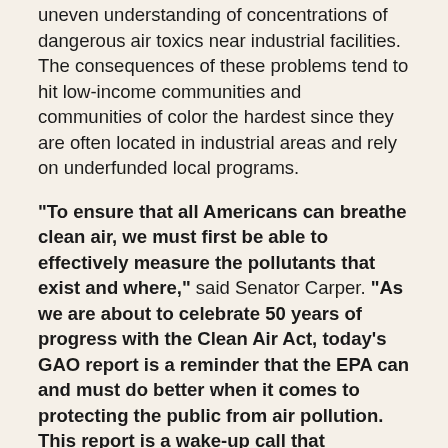uneven understanding of concentrations of dangerous air toxics near industrial facilities. The consequences of these problems tend to hit low-income communities and communities of color the hardest since they are often located in industrial areas and rely on underfunded local programs.
“To ensure that all Americans can breathe clean air, we must first be able to effectively measure the pollutants that exist and where,” said Senator Carper. “As we are about to celebrate 50 years of progress with the Clean Air Act, today’s GAO report is a reminder that the EPA can and must do better when it comes to protecting the public from air pollution. This report is a wake-up call that investments and updates are needed in our aging air pollution monitoring system. For too long the air monitoring system has been ignored, especially in terms of tracking air toxics, like mercury, in our communities. For a decade, I have worked with Senator Collins on legislation to improve how we track and monitor mercury